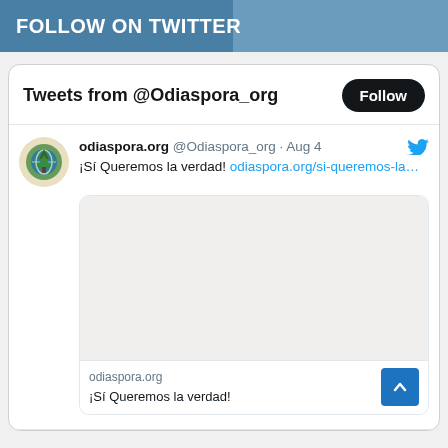FOLLOW ON TWITTER
Tweets from @Odiaspora_org
odiaspora.org @Odiaspora_org · Aug 4
¡Sí Queremos la verdad! odiaspora.org/si-queremos-la…
[Figure (screenshot): Embedded tweet card image area (blank/gray image placeholder)]
odiaspora.org
¡Sí Queremos la verdad!